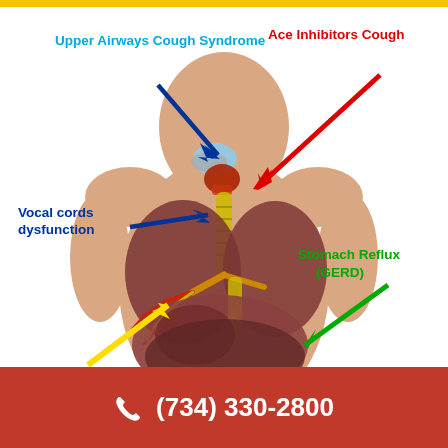[Figure (infographic): Medical infographic showing causes of chronic cough with anatomical diagram of the human respiratory and digestive system. Labeled arrows in different colors point to: Upper Airways Cough Syndrome (dark blue arrow), Ace Inhibitors Cough (red arrow), Vocal cords dysfunction (dark blue arrow), Stomach Reflux/GERD (green arrow), and an unlabeled yellow arrow pointing to the lower GI region.]
(734) 330-2800